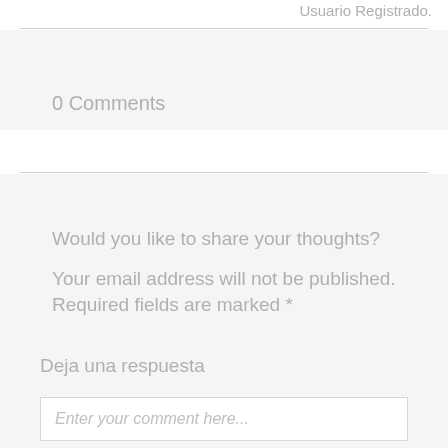Usuario Registrado.
0 Comments
Would you like to share your thoughts?
Your email address will not be published. Required fields are marked *
Deja una respuesta
Enter your comment here...